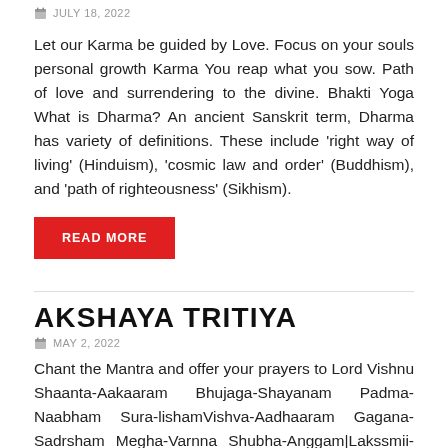JULY 18, 2022
Let our Karma be guided by Love. Focus on your souls personal growth Karma You reap what you sow. Path of love and surrendering to the divine. Bhakti Yoga What is Dharma? An ancient Sanskrit term, Dharma has variety of definitions. These include ‘right way of living’ (Hinduism), ‘cosmic law and order’ (Buddhism), and ‘path of righteousness’ (Sikhism).
READ MORE
AKSHAYA TRITIYA
MAY 2, 2022
Chant the Mantra and offer your prayers to Lord Vishnu Shaanta-Aakaaram Bhujaga-Shayanam Padma-Naabham Sura-lishamVishva-Aadhaaram Gagana-Sadrsham Megha-Varnna Shubha-Anggam∣Lakssmii-Kaantam Kamala-Nayanam Yogibhir-Dhyaana-GamyamVande Vissnnum Bhava-Bhaya-Haram Sarva-